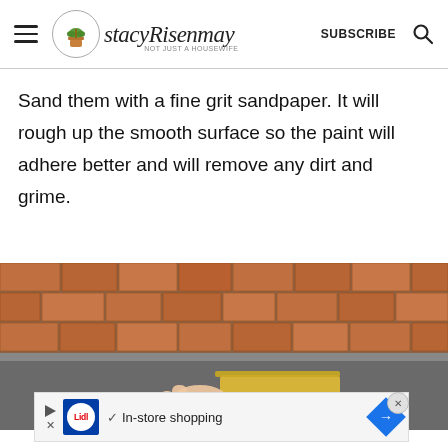StacyRisenmay — SUBSCRIBE (navigation header with hamburger menu, logo, subscribe, and search)
Sand them with a fine grit sandpaper. It will rough up the smooth surface so the paint will adhere better and will remove any dirt and grime.
[Figure (photo): A person sanding a dark grey flat surface (a paving slab or stepping stone) with a yellow piece of sandpaper. In the background is a terracotta brick wall.]
[Figure (screenshot): Lidl advertisement banner: play/close icons on left, Lidl logo, checkmark with 'In-store shopping' text, blue diamond arrow icon, and X close button.]